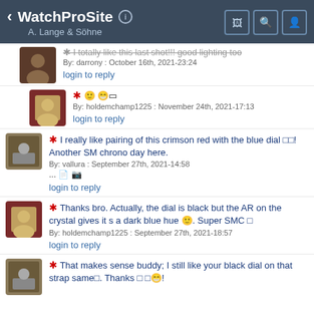WatchProSite - A. Lange & Söhne
* I totally like this last shot!!! good lighting too
By: darrony : October 16th, 2021-23:24
login to reply
* 🙂😁🔲
By: holdemchamp1225 : November 24th, 2021-17:13
login to reply
* I really like pairing of this crimson red with the blue dial 🔲🔲! Another SM chrono day here.
By: vallura : September 27th, 2021-14:58
login to reply
* Thanks bro. Actually, the dial is black but the AR on the crystal gives it s a dark blue hue 🙂. Super SMC 🔲
By: holdemchamp1225 : September 27th, 2021-18:57
login to reply
* That makes sense buddy; I still like your black dial on that strap same🔲. Thanks 🔲 🔲😁!